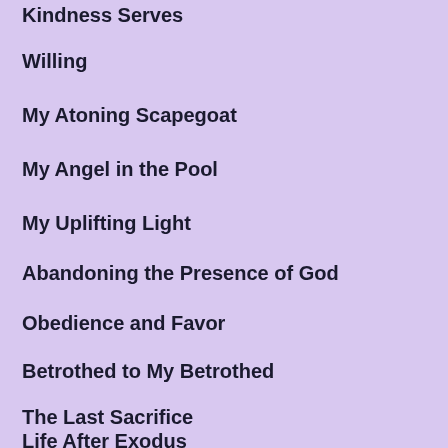Kindness Serves
Willing
My Atoning Scapegoat
My Angel in the Pool
My Uplifting Light
Abandoning the Presence of God
Obedience and Favor
Betrothed to My Betrothed
The Last Sacrifice
Life After Exodus